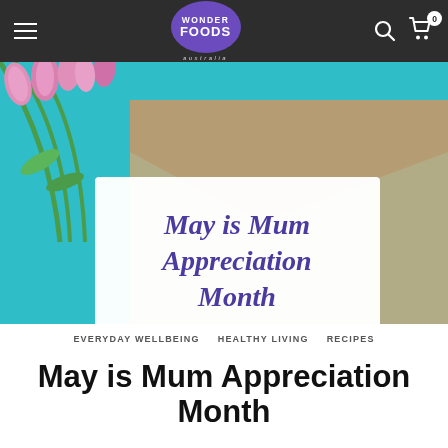Wonder Foods Australia – navigation bar
[Figure (photo): Hero image of pink tulips on a teal background with a kraft paper envelope and a white card reading 'May is Mum Appreciation Month' in purple script]
EVERYDAY WELLBEING   HEALTHY LIVING   RECIPES
May is Mum Appreciation Month